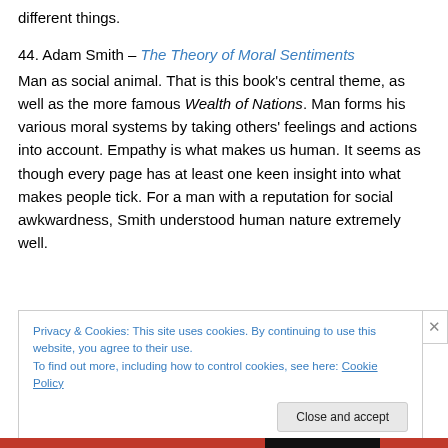different things.
44. Adam Smith – The Theory of Moral Sentiments
Man as social animal. That is this book's central theme, as well as the more famous Wealth of Nations. Man forms his various moral systems by taking others' feelings and actions into account. Empathy is what makes us human. It seems as though every page has at least one keen insight into what makes people tick. For a man with a reputation for social awkwardness, Smith understood human nature extremely well.
Privacy & Cookies: This site uses cookies. By continuing to use this website, you agree to their use.
To find out more, including how to control cookies, see here: Cookie Policy